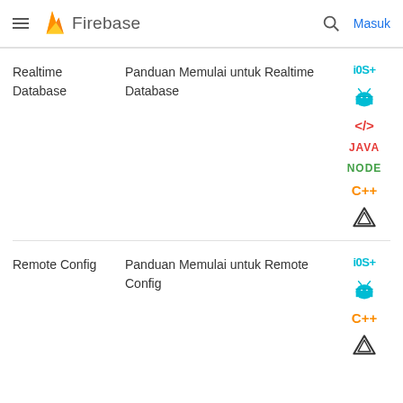Firebase — Masuk
| Category | Guide | Platforms |
| --- | --- | --- |
| Realtime Database | Panduan Memulai untuk Realtime Database | iOS+, Android, Web, Java, Node, C++, Unity |
| Remote Config | Panduan Memulai untuk Remote Config | iOS+, Android, C++, Unity |